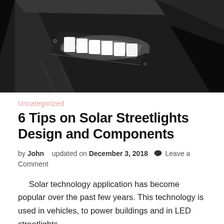[Figure (photo): Close-up photograph of an LED solar streetlight fixture glowing brightly against a dark/black background. The light bar emits intense white light from multiple LED modules mounted in a rectangular housing.]
Uncategorized
6 Tips on Solar Streetlights Design and Components
by John   updated on December 3, 2018  💬 Leave a Comment
Solar technology application has become popular over the past few years. This technology is used in vehicles, to power buildings and in LED streetlights